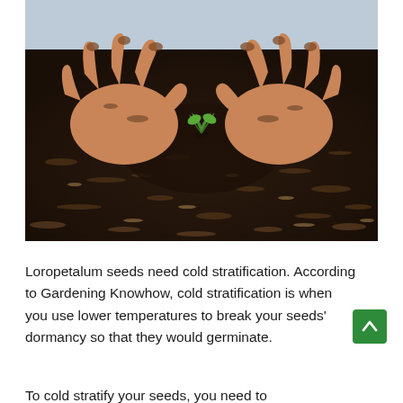[Figure (photo): Close-up photograph of two hands with dirt-covered fingers gently pressing soil around a tiny green seedling sprouting from dark, mulch-rich earth.]
Loropetalum seeds need cold stratification. According to Gardening Knowhow, cold stratification is when you use lower temperatures to break your seeds' dormancy so that they would germinate.
(partial, cut off at page bottom)